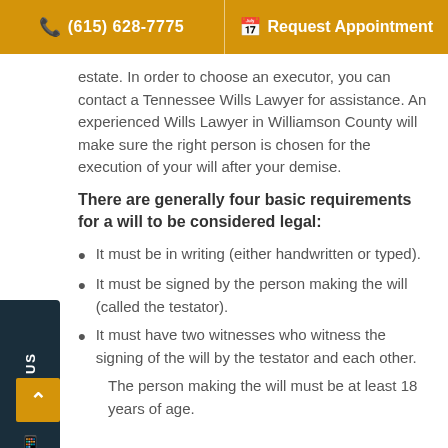📞 (615) 628-7775 | 📅 Request Appointment
estate. In order to choose an executor, you can contact a Tennessee Wills Lawyer for assistance. An experienced Wills Lawyer in Williamson County will make sure the right person is chosen for the execution of your will after your demise.
There are generally four basic requirements for a will to be considered legal:
It must be in writing (either handwritten or typed).
It must be signed by the person making the will (called the testator).
It must have two witnesses who witness the signing of the will by the testator and each other.
The person making the will must be at least 18 years of age.